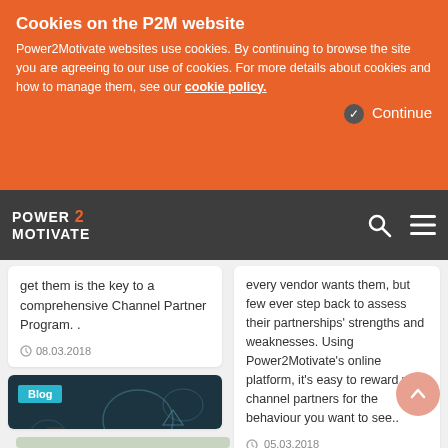Cookies on the P2M website
Power2Motivate websites use cookies. By continuing to browse the site you are agreeing to our use of cookies. For more details about cookies and how to manage them, see our cookie policy.
Continue
POWER 2 MOTIVATE
get them is the key to a comprehensive Channel Partner Program. .
08.03.2018
[Figure (photo): Blog post image showing a hand holding an alarm clock with chalk business icons on a dark chalkboard background]
every vendor wants them, but few ever step back to assess their partnerships' strengths and weaknesses. Using Power2Motivate's online platform, it's easy to reward your channel partners for the behaviour you want to see..
05.03.2018